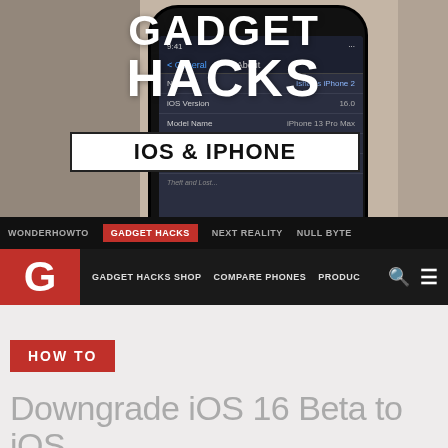[Figure (screenshot): Gadget Hacks website screenshot showing an iPhone with iOS Settings About screen, with GADGET HACKS logo overlay, IOS & IPHONE badge, navigation bars, HOW TO badge, and article title beginning 'Downgrade iOS 16 Beta to iOS']
GADGET HACKS
IOS & IPHONE
WONDERHOWTO  GADGET HACKS  NEXT REALITY  NULL BYTE
GADGET HACKS SHOP  COMPARE PHONES  PRODUC
HOW TO
Downgrade iOS 16 Beta to iOS